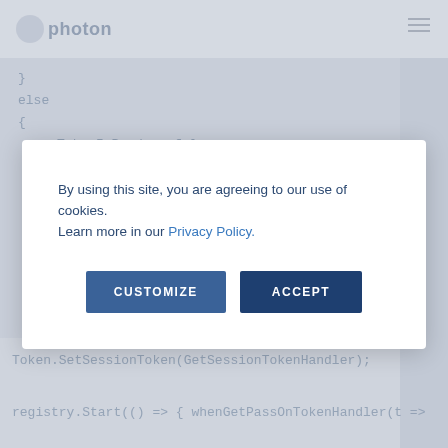photon
[Figure (screenshot): Blurred code editor background showing code snippets in a dark-on-light theme with monospace font]
By using this site, you are agreeing to our use of cookies. Learn more in our Privacy Policy.
CUSTOMIZE
ACCEPT